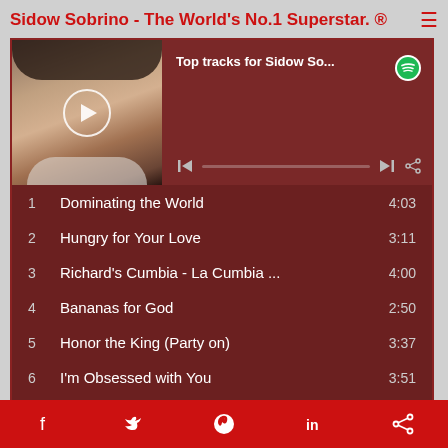Sidow Sobrino - The World's No.1 Superstar. ®
[Figure (screenshot): Spotify player widget showing 'Top tracks for Sidow So...' with album art thumbnail, play button, progress bar, and track listing: 1. Dominating the World 4:03, 2. Hungry for Your Love 3:11, 3. Richard's Cumbia - La Cumbia ... 4:00, 4. Bananas for God 2:50, 5. Honor the King (Party on) 3:37, 6. I'm Obsessed with You 3:51, 7. Spin & Dance 4:19]
Facebook Twitter Pinterest LinkedIn Share